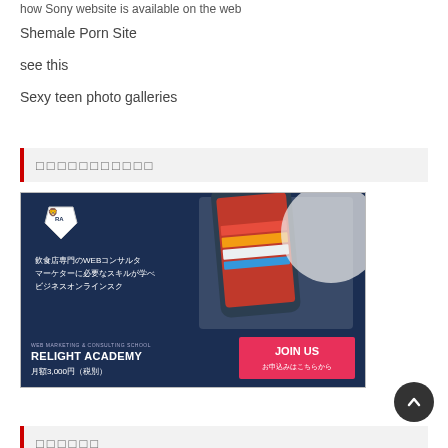how Sony website is available on the web
Shemale Porn Site
see this
Sexy teen photo galleries
□□□□□□□□□□□
[Figure (illustration): Advertisement banner for Relight Academy WEB Marketing & Consulting School showing a smartphone with books, RA shield logo, Japanese text about restaurant web consulting, and a JOIN US button with monthly price 月額3,000円（税別）]
□□□□□□